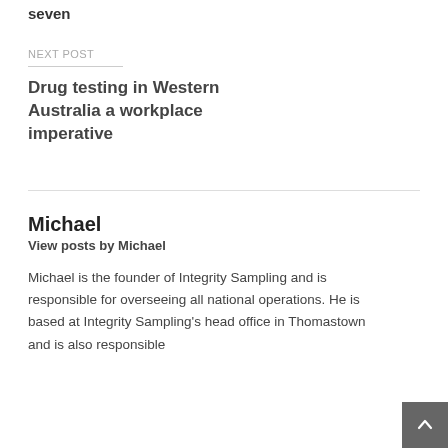seven
NEXT POST
Drug testing in Western Australia a workplace imperative
Michael
View posts by Michael
Michael is the founder of Integrity Sampling and is responsible for overseeing all national operations. He is based at Integrity Sampling's head office in Thomastown and is also responsible